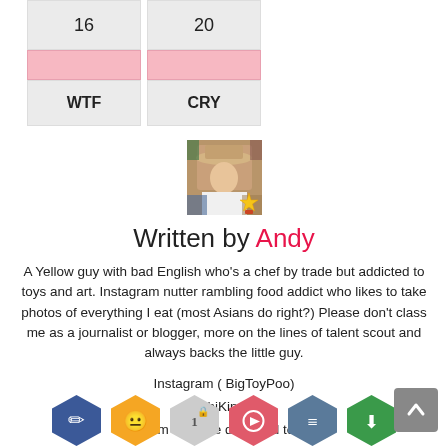| 16 | 20 |
| --- | --- |
|  |  |
| WTF | CRY |
[Figure (photo): Author avatar photo of a person wearing a hat, with a gold star badge overlay in the bottom right]
Written by Andy
A Yellow guy with bad English who's a chef by trade but addicted to toys and art. Instagram nutter rambling food addict who likes to take photos of everything I eat (most Asians do right?) Please don't class me as a journalist or blogger, more on the lines of talent scout and always backs the little guy.
Instagram ( BigToyPoo)
(SushiKingUK)
I am that one dickhead too.
[Figure (illustration): Row of hexagonal social media/feature icons at the bottom of the page in various colors (blue, gold, grey, pink/red, green, green)]